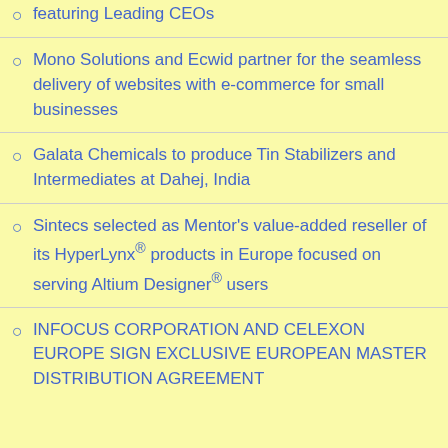featuring Leading CEOs
Mono Solutions and Ecwid partner for the seamless delivery of websites with e-commerce for small businesses
Galata Chemicals to produce Tin Stabilizers and Intermediates at Dahej, India
Sintecs selected as Mentor's value-added reseller of its HyperLynx® products in Europe focused on serving Altium Designer® users
INFOCUS CORPORATION AND CELEXON EUROPE SIGN EXCLUSIVE EUROPEAN MASTER DISTRIBUTION AGREEMENT